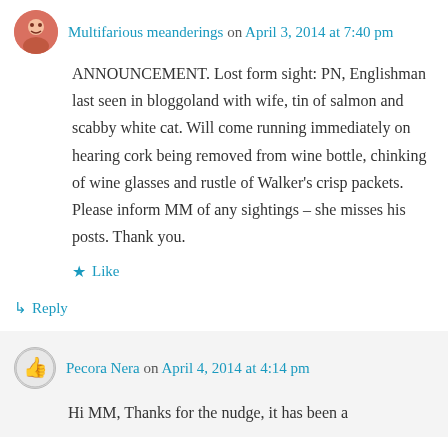Multifarious meanderings on April 3, 2014 at 7:40 pm
ANNOUNCEMENT. Lost form sight: PN, Englishman last seen in bloggoland with wife, tin of salmon and scabby white cat. Will come running immediately on hearing cork being removed from wine bottle, chinking of wine glasses and rustle of Walker's crisp packets. Please inform MM of any sightings – she misses his posts. Thank you.
★ Like
↳ Reply
Pecora Nera on April 4, 2014 at 4:14 pm
Hi MM, Thanks for the nudge, it has been a